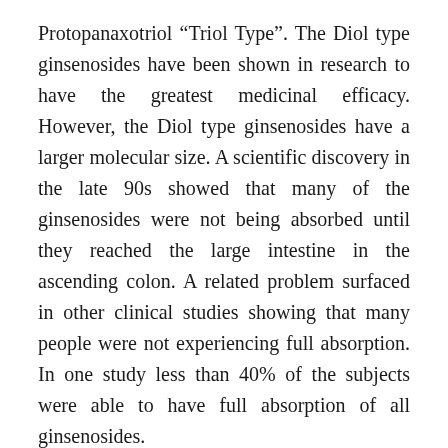Protopanaxotriol “Triol Type”. The Diol type ginsenosides have been shown in research to have the greatest medicinal efficacy. However, the Diol type ginsenosides have a larger molecular size. A scientific discovery in the late 90s showed that many of the ginsenosides were not being absorbed until they reached the large intestine in the ascending colon. A related problem surfaced in other clinical studies showing that many people were not experiencing full absorption. In one study less than 40% of the subjects were able to have full absorption of all ginsenosides.